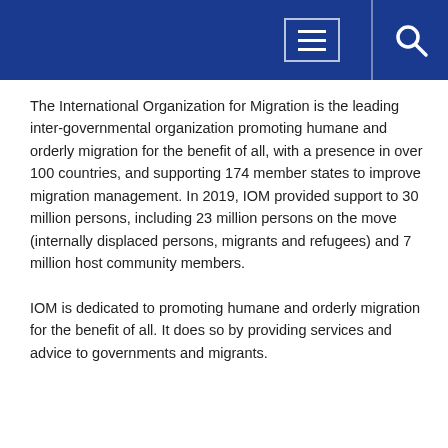Navigation header with menu and search icons
The International Organization for Migration is the leading inter-governmental organization promoting humane and orderly migration for the benefit of all, with a presence in over 100 countries, and supporting 174 member states to improve migration management. In 2019, IOM provided support to 30 million persons, including 23 million persons on the move (internally displaced persons, migrants and refugees) and 7 million host community members.
IOM is dedicated to promoting humane and orderly migration for the benefit of all. It does so by providing services and advice to governments and migrants.